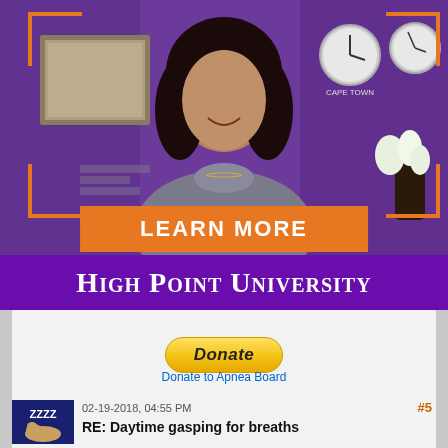[Figure (photo): High Point University advertisement banner showing a smiling woman in an office setting with clocks labeled 'Cape Town' on a purple background, with orange corner brackets and a LEARN MORE button]
High Point University
[Figure (other): PayPal Donate button with yellow gradient styling]
Donate to Apnea Board
02-19-2018, 04:55 PM
#5
[Figure (other): Sleep forum avatar showing 'ZZZZ' text with sleeping figure]
RE: Daytime gasping for breaths